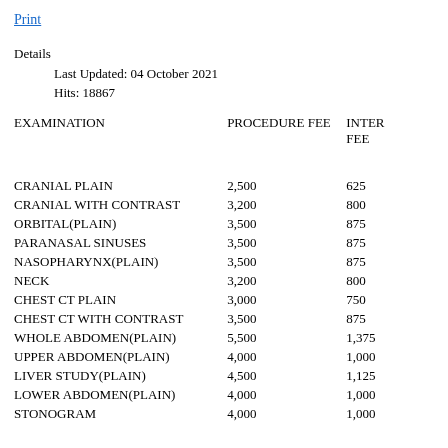Print
Details
    Last Updated: 04 October 2021
    Hits: 18867
| EXAMINATION | PROCEDURE FEE | INTER FEE |
| --- | --- | --- |
| CRANIAL PLAIN | 2,500 | 625 |
| CRANIAL WITH CONTRAST | 3,200 | 800 |
| ORBITAL(PLAIN) | 3,500 | 875 |
| PARANASAL SINUSES | 3,500 | 875 |
| NASOPHARYNX(PLAIN) | 3,500 | 875 |
| NECK | 3,200 | 800 |
| CHEST CT PLAIN | 3,000 | 750 |
| CHEST CT WITH CONTRAST | 3,500 | 875 |
| WHOLE ABDOMEN(PLAIN) | 5,500 | 1,375 |
| UPPER ABDOMEN(PLAIN) | 4,000 | 1,000 |
| LIVER STUDY(PLAIN) | 4,500 | 1,125 |
| LOWER ABDOMEN(PLAIN) | 4,000 | 1,000 |
| STONOGRAM | 4,000 | 1,000 |